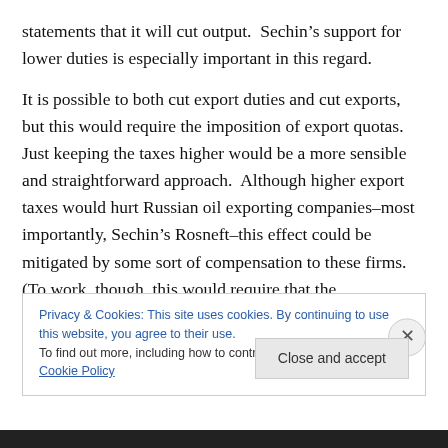statements that it will cut output. Sechin’s support for lower duties is especially important in this regard.
It is possible to both cut export duties and cut exports, but this would require the imposition of export quotas. Just keeping the taxes higher would be a more sensible and straightforward approach. Although higher export taxes would hurt Russian oil exporting companies–most importantly, Sechin’s Rosneft–this effect could be mitigated by some sort of compensation to these firms. (To work, though, this would require that the compensation
Privacy & Cookies: This site uses cookies. By continuing to use this website, you agree to their use.
To find out more, including how to control cookies, see here: Cookie Policy
Close and accept